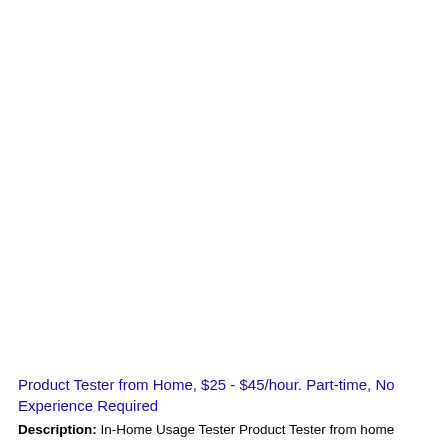Product Tester from Home, $25 - $45/hour. Part-time, No Experience Required
Description: In-Home Usage Tester Product Tester from home